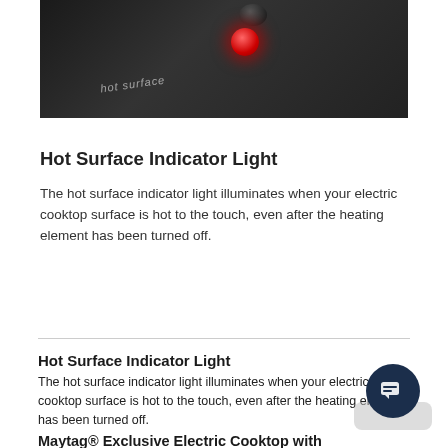[Figure (photo): Close-up photo of an electric cooktop surface showing a red hot surface indicator light glowing on a dark ceramic glass surface, with text 'hot surface' visible on the cooktop.]
Hot Surface Indicator Light
The hot surface indicator light illuminates when your electric cooktop surface is hot to the touch, even after the heating element has been turned off.
Hot Surface Indicator Light
The hot surface indicator light illuminates when your electric cooktop surface is hot to the touch, even after the heating element has been turned off.
Maytag® Exclusive Electric Cooktop with